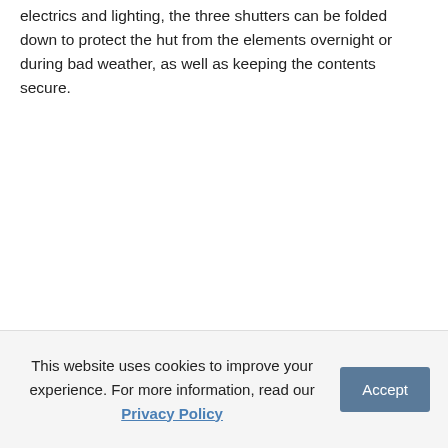electrics and lighting, the three shutters can be folded down to protect the hut from the elements overnight or during bad weather, as well as keeping the contents secure.
This website uses cookies to improve your experience. For more information, read our Privacy Policy  Accept